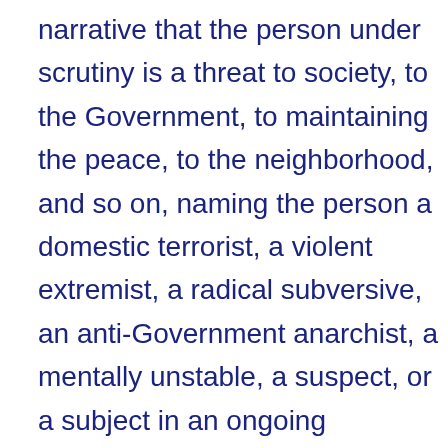narrative that the person under scrutiny is a threat to society, to the Government, to maintaining the peace, to the neighborhood, and so on, naming the person a domestic terrorist, a violent extremist, a radical subversive, an anti-Government anarchist, a mentally unstable, a suspect, or a subject in an ongoing investigation. This is defamation and slander built on lies, which the FBI disseminates criminally in neighborhoods: to permit open harassment of the target and obtain neighborhood buy-in of military weapon use, increased